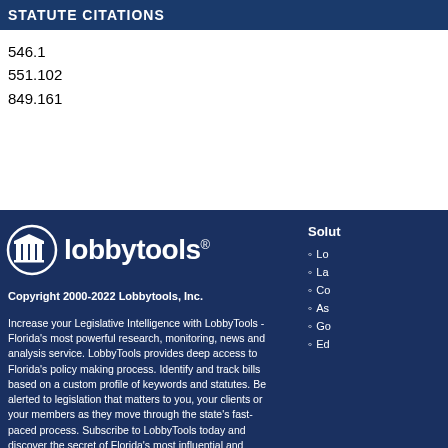STATUTE CITATIONS
546.1
551.102
849.161
[Figure (logo): LobbyTools logo with pillar icon]
Copyright 2000-2022 Lobbytools, Inc.
Increase your Legislative Intelligence with LobbyTools - Florida's most powerful research, monitoring, news and analysis service. LobbyTools provides deep access to Florida's policy making process. Identify and track bills based on a custom profile of keywords and statutes. Be alerted to legislation that matters to you, your clients or your members as they move through the state's fast-paced process. Subscribe to LobbyTools today and discover the secret of Florida's most influential and demanding legislative participants.
Solut Lo La Co As Go Ed